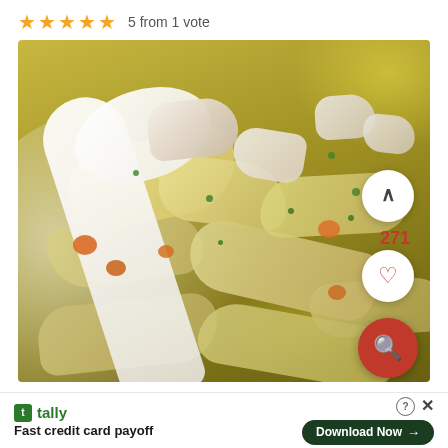★★★★★  5 from 1 vote
[Figure (photo): A close-up photo of chicken noodle soup in a white bowl, featuring wide egg noodles, chunks of white chicken, orange carrot pieces, and green herbs in a golden yellow broth. A white ceramic spoon is visible in the bowl.]
271
Fast credit card payoff
Download Now →